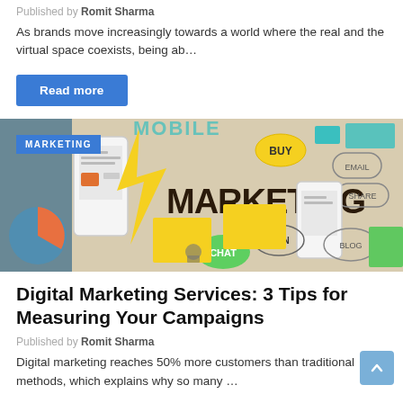Published by Romit Sharma
As brands move increasingly towards a world where the real and the virtual space coexists, being ab…
Read more
[Figure (photo): Marketing concept image showing the word MARKETING in large bold letters surrounded by colorful sticky notes, speech bubbles, mobile phones and icons related to digital marketing. Has a blue MARKETING category label in top left.]
Digital Marketing Services: 3 Tips for Measuring Your Campaigns
Published by Romit Sharma
Digital marketing reaches 50% more customers than traditional methods, which explains why so many …